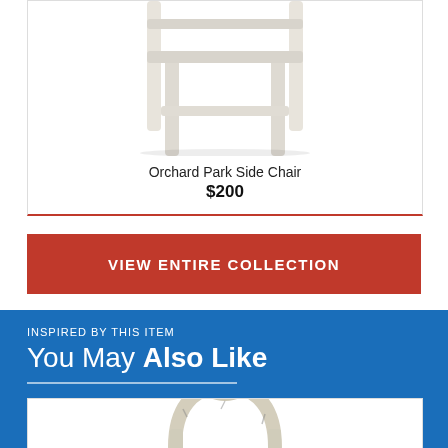[Figure (photo): White wooden side chair with slatted back and four legs, photographed on white background — lower half visible showing legs]
Orchard Park Side Chair
$200
VIEW ENTIRE COLLECTION
INSPIRED BY THIS ITEM
You May Also Like
[Figure (photo): White distressed/painted wooden chair with ornate carved back, photographed on white background — upper portion visible]